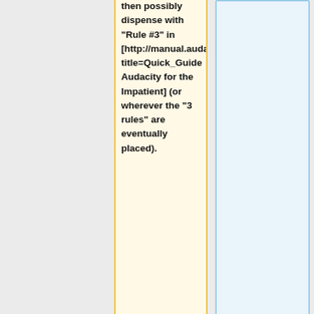then possibly dispense with "Rule #3" in [http://manual.audacityteam.org/index.php?title=Quick_Guide Audacity for the Impatient] (or wherever the "3 rules" are eventually placed).
***New users are presumably downloading Audacity for the first time, and many are complete novices. Rule #3 may be incomprehensible to them.
*""BillW 20Jan10:""* I think this is user error and RTFM. In Warnings Preferences by default this preference is checked: "Saving projects: Every time you save a project, Audacity will warn you that you are saving an Audacity